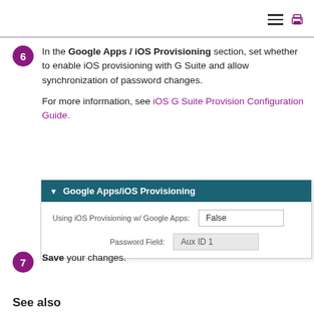6 In the Google Apps / iOS Provisioning section, set whether to enable iOS provisioning with G Suite and allow synchronization of password changes.
For more information, see iOS G Suite Provision Configuration Guide.
[Figure (screenshot): Screenshot of Google Apps/iOS Provisioning section with fields: 'Using iOS Provisioning w/ Google Apps: False' and 'Password Field: Aux ID 1']
7 Save your changes.
See also